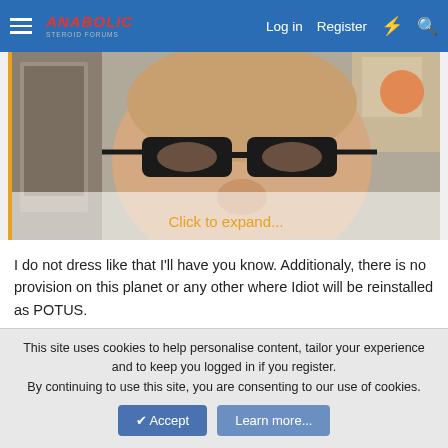Anabolic Steroid Forums — Log in | Register
[Figure (photo): Partially visible photo of a man wearing dark-framed glasses, close-up face shot, with a room visible in the background. An orange 'Click to expand...' link overlays the bottom of the image.]
I do not dress like that I'll have you know. Additionaly, there is no provision on this planet or any other where Idiot will be reinstalled as POTUS.
chicagosterone
Registered User  Registered Member
This site uses cookies to help personalise content, tailor your experience and to keep you logged in if you register.
By continuing to use this site, you are consenting to our use of cookies.